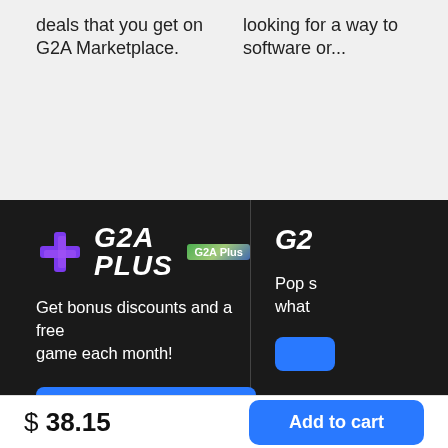deals that you get on G2A Marketplace.
looking for a way to software or...
[Figure (logo): G2A Plus logo with purple plus icon, white bold italic text 'G2A PLUS', and a G2A Plus badge]
Get bonus discounts and a free game each month!
Pop s what game
Unlock membership
$ 38.15
Add to cart